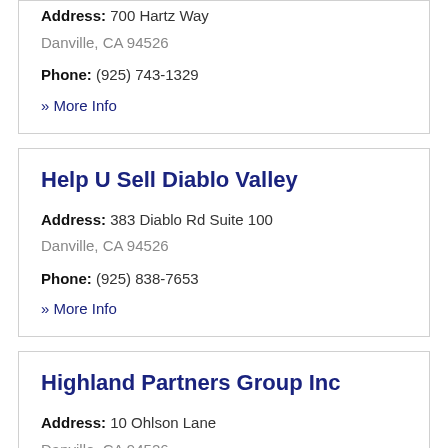Address: 700 Hartz Way
Danville, CA 94526
Phone: (925) 743-1329
» More Info
Help U Sell Diablo Valley
Address: 383 Diablo Rd Suite 100
Danville, CA 94526
Phone: (925) 838-7653
» More Info
Highland Partners Group Inc
Address: 10 Ohlson Lane
Danville, CA 94526